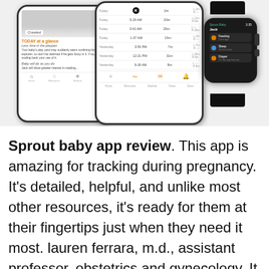[Figure (screenshot): Screenshot showing two smartphones and a smartwatch displaying the Sprout Baby app. Left phone shows 'TODAY at a glance' with orange heading and baby development content. Right phone shows a sleep tracking log with times and durations. Smartwatch shows the Sprout Baby app with Jack's name, Feeding, Sleep, and Diaper entries.]
Sprout baby app review. This app is amazing for tracking during pregnancy. It's detailed, helpful, and unlike most other resources, it's ready for them at their fingertips just when they need it most. lauren ferrara, m.d., assistant professor, obstetrics and gynecology. It helps keep you organized and educated about the many exciting changes and developments happening on your body and for your